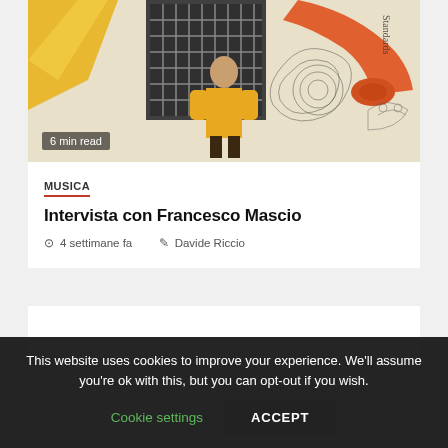[Figure (photo): A man in a yellow shirt standing in front of a wall mural with black and white detailed illustrations and an orange gramophone horn. Text 'Standards' visible in top right of mural.]
6 min read
MUSICA
Intervista con Francesco Mascio
4 settimane fa   Davide Riccio
This website uses cookies to improve your experience. We'll assume you're ok with this, but you can opt-out if you wish.
Cookie settings   ACCEPT